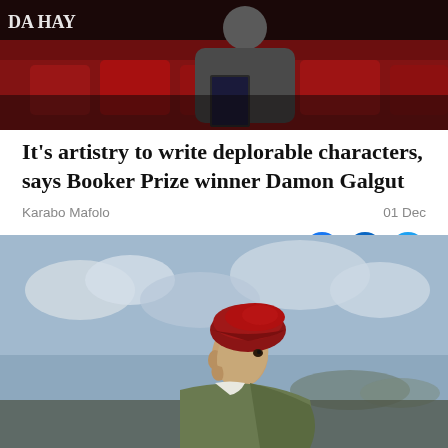[Figure (photo): Photo of a man (presumably Damon Galgut) seated in a red-chair setting, holding a book, at what appears to be a literary event or TV studio with red chairs in background.]
It's artistry to write deplorable characters, says Booker Prize winner Damon Galgut
Karabo Mafolo
01 Dec
Save  3 mins
[Figure (photo): Painting or artwork of a figure in profile view wearing a red beret and green jacket, set against a cloudy sky landscape background, suggesting a South African artistic context.]